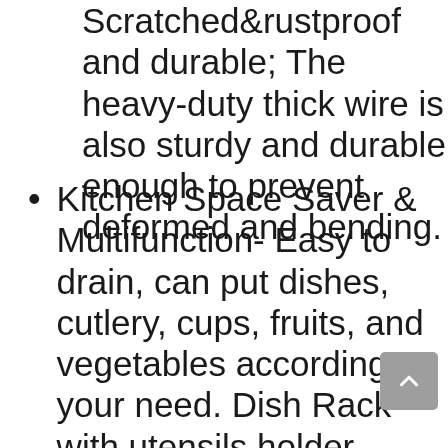Scratched&rustproof and durable; The heavy-duty thick wire is also sturdy and durable enough to prevent deformed and bending.
Kitchen Space Saver & Multifunction- Easy to drain, can put dishes, cutlery, cups, fruits, and vegetables according to your need. Dish Rack with utensils holder, compact yet large capacity, perfect for small space kitchen; It provides more space and making it very convenient to use; Convenient for daily cleaning.